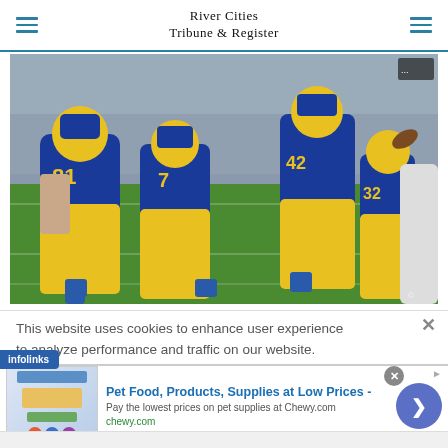River Cities Tribune & Register
[Figure (photo): Football players in blue and yellow uniforms running on a green field during a game. Players wearing numbers 7, 42, and 32 visible. Crowd in background.]
This website uses cookies to enhance user experience to analyze performance and traffic on our website.
[Figure (logo): infolinks logo badge - blue background with white text]
[Figure (infographic): Advertisement: Pet Food, Products, Supplies at Low Prices - Pay the lowest prices on pet supplies at Chewy.com - chewy.com]